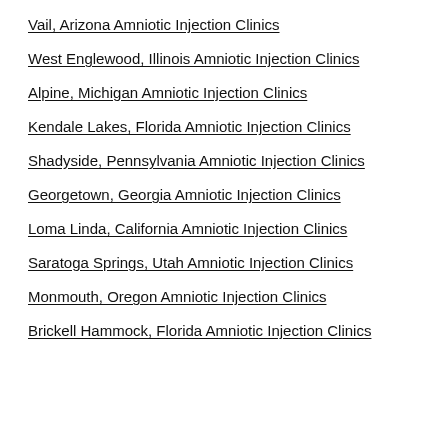Vail, Arizona Amniotic Injection Clinics
West Englewood, Illinois Amniotic Injection Clinics
Alpine, Michigan Amniotic Injection Clinics
Kendale Lakes, Florida Amniotic Injection Clinics
Shadyside, Pennsylvania Amniotic Injection Clinics
Georgetown, Georgia Amniotic Injection Clinics
Loma Linda, California Amniotic Injection Clinics
Saratoga Springs, Utah Amniotic Injection Clinics
Monmouth, Oregon Amniotic Injection Clinics
Brickell Hammock, Florida Amniotic Injection Clinics